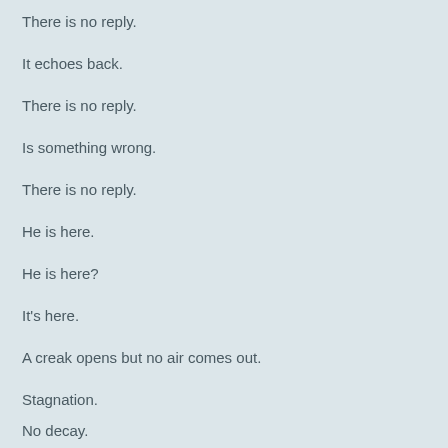There is no reply.
It echoes back.
There is no reply.
Is something wrong.
There is no reply.
He is here.
He is here?
It's here.
A creak opens but no air comes out.
Stagnation.
No decay.
There is no reply.